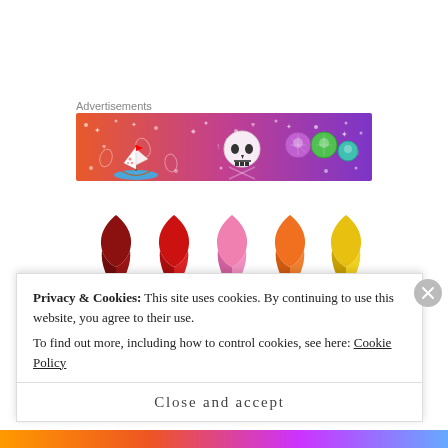Advertisements
[Figure (illustration): Colorful banner advertisement with gradient from orange-red to purple, featuring a sailboat, skull, and gemstone/crystal illustrations with decorative dots and symbols on a dark background.]
[Figure (illustration): Two rows of colored awareness ribbons: top row has dark red, red, pink, orange, and yellow ribbons; bottom row has purple, blue, teal, green-teal, and green ribbons.]
Privacy & Cookies: This site uses cookies. By continuing to use this website, you agree to their use.
To find out more, including how to control cookies, see here: Cookie Policy
Close and accept